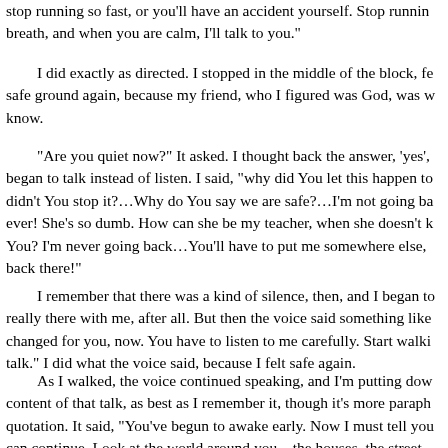stop running so fast, or you'll have an accident yourself. Stop running, take a breath, and when you are calm, I'll talk to you."
I did exactly as directed. I stopped in the middle of the block, fe safe ground again, because my friend, who I figured was God, was w know.
"Are you quiet now?" It asked. I thought back the answer, 'yes', began to talk instead of listen. I said, "why did You let this happen to didn't You stop it?…Why do You say we are safe?…I'm not going ba ever! She's so dumb. How can she be my teacher, when she doesn't k You? I'm never going back…You'll have to put me somewhere else, back there!"
I remember that there was a kind of silence, then, and I began t really there with me, after all. But then the voice said something like changed for you, now. You have to listen to me carefully. Start walki talk." I did what the voice said, because I felt safe again.
As I walked, the voice continued speaking, and I'm putting dow content of that talk, as best as I remember it, though it's more paraph quotation. It said, "You've begun to awake early. Now I must tell you can continue. Look at the world around you…the houses, the street, up at the sky…see the clouds, the sun?" (I nodded.) "Well, you must is not what it seems to be. These are a kind of form of things. But th